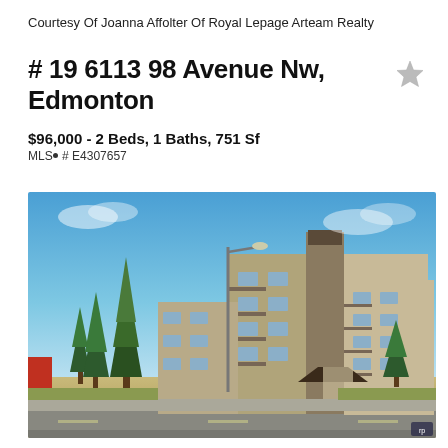Courtesy Of Joanna Affolter Of Royal Lepage Arteam Realty
# 19 6113 98 Avenue Nw, Edmonton
$96,000 - 2 Beds, 1 Baths, 751 Sf
MLS® # E4307657
[Figure (photo): Exterior photo of a multi-storey condominium building in Edmonton with beige and tan facade, balconies, a dark canopy entrance, surrounded by evergreen trees, under a blue sky.]